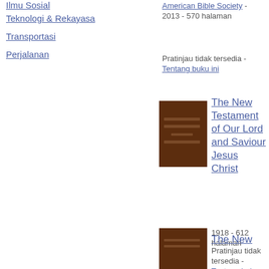Ilmu Sosial
Teknologi & Rekayasa
Transportasi
Perjalanan
American Bible Society - 2013 - 570 halaman
Pratinjau tidak tersedia - Tentang buku ini
[Figure (photo): Book cover of The New Testament of Our Lord and Saviour Jesus Christ, dark brown cover]
The New Testament of Our Lord and Saviour Jesus Christ
1918 - 612 halaman
Pratinjau tidak tersedia - Tentang buku ini
[Figure (photo): Partial book cover, dark brown, at bottom of page]
The New